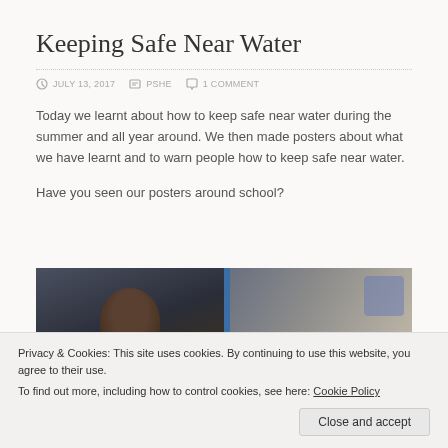Keeping Safe Near Water
JULY 13, 2017   PSHE   1 COMMENT
Today we learnt about how to keep safe near water during the summer and all year around. We then made posters about what we have learnt and to warn people how to keep safe near water.
Have you seen our posters around school?
[Figure (photo): Two photos side by side showing students working on water safety posters, separated by a blue border.]
Privacy & Cookies: This site uses cookies. By continuing to use this website, you agree to their use.
To find out more, including how to control cookies, see here: Cookie Policy
Close and accept